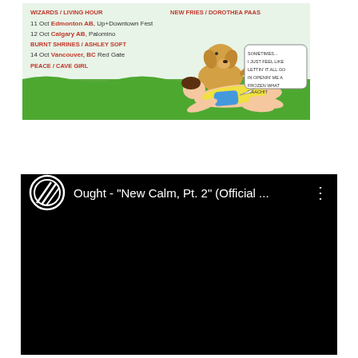[Figure (illustration): Concert/event listing banner with cartoon illustration. Left side shows event dates: WIZARDS / LIVING HOUR, 11 Oct Edmonton AB Up+Downtown Fest, 12 Oct Calgary AB Palomino, BURNT SHRINES / ASHLEY SOFT, 14 Oct Vancouver BC Red Gate, PEACE / CAVE GIRL. Right side shows a cartoon of a golden dog sitting on a person lying on grass, with speech bubbles.]
[Figure (screenshot): Screenshot of a YouTube video player with black background. Header shows a circular logo icon on the left, title text 'Ought - "New Calm, Pt. 2" (Official ...' and a three-dot menu icon on the right. Video area is entirely black.]